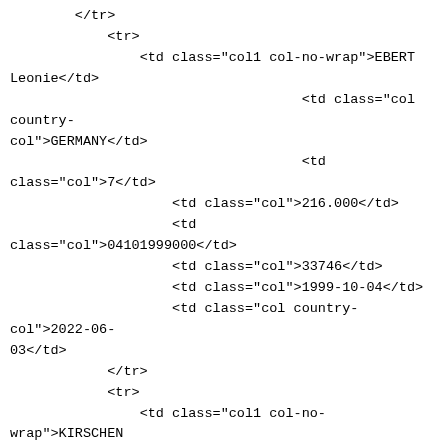</tr>
    <tr>
        <td class="col1 col-no-wrap">EBERT Leonie</td>
                                    <td class="col country-col">GERMANY</td>
                                    <td
class="col">7</td>
                    <td class="col">216.000</td>
                    <td
class="col">04101999000</td>
                    <td class="col">33746</td>
                    <td class="col">1999-10-04</td>
                    <td class="col country-col">2022-06-03</td>
        </tr>
        <tr>
            <td class="col1 col-no-wrap">KIRSCHEN Kim</td>
                                    <td class="col country-col">GERMANY</td>
                                    <td
class="col">7</td>
                    <td class="col">216.000</td>
                    <td
class="col">16091996001</td>
                    <td class="col">28461</td>
                    <td class="col">1996-09-16</td>
                    <td class="col country-col">2022-06-03</td>